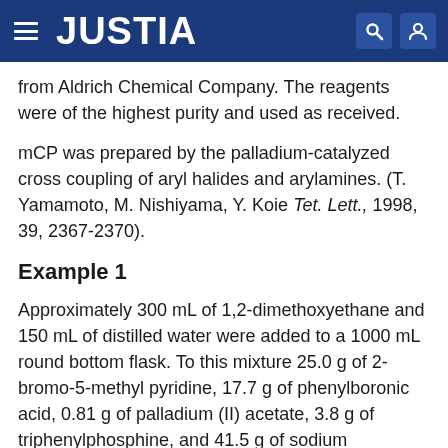JUSTIA
from Aldrich Chemical Company. The reagents were of the highest purity and used as received.
mCP was prepared by the palladium-catalyzed cross coupling of aryl halides and arylamines. (T. Yamamoto, M. Nishiyama, Y. Koie Tet. Lett., 1998, 39, 2367-2370).
Example 1
Approximately 300 mL of 1,2-dimethoxyethane and 150 mL of distilled water were added to a 1000 mL round bottom flask. To this mixture 25.0 g of 2-bromo-5-methyl pyridine, 17.7 g of phenylboronic acid, 0.81 g of palladium (II) acetate, 3.8 g of triphenylphosphine, and 41.5 g of sodium carbonate were added. This mixture was heated to reflux under nitrogen atmosphere for 16 hours. After the reaction was cooled, 200 mL water and